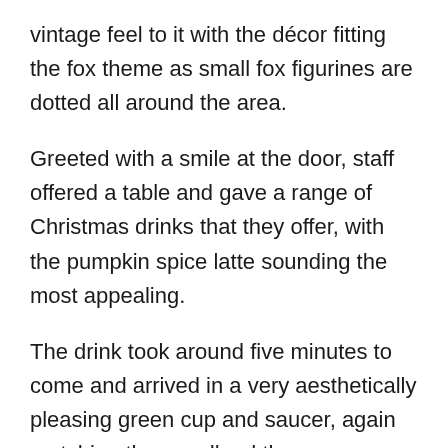vintage feel to it with the décor fitting the fox theme as small fox figurines are dotted all around the area.
Greeted with a smile at the door, staff offered a table and gave a range of Christmas drinks that they offer, with the pumpkin spice latte sounding the most appealing.
The drink took around five minutes to come and arrived in a very aesthetically pleasing green cup and saucer, again matching the woodland theme.
Although the coffee was a regular it was around the same size as the rest of the drinks tested, which